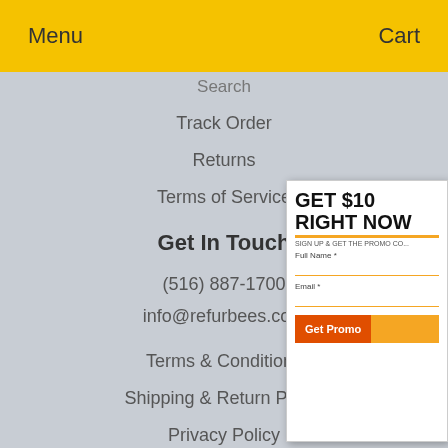Menu   Cart
Search
Track Order
Returns
Terms of Service
Get In Touch
(516) 887-1700
info@refurbees.com
Terms & Conditions
Shipping & Return Policy
Privacy Policy
Accessibility Statement
CoA
Newsletter
[Figure (screenshot): Popup card offering $10 off with promo code signup. Contains 'GET $10 RIGHT NOW', sign up text, Full Name and Email fields, and a Get Promo button.]